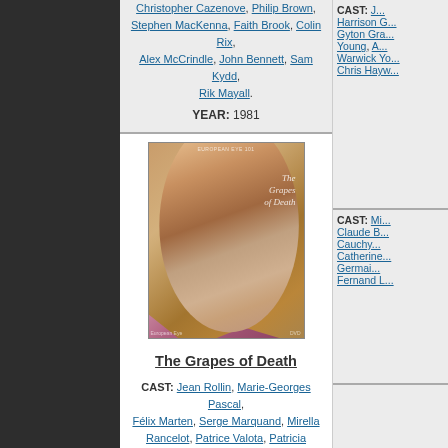CAST: Christopher Cazenove, Philip Brown, Stephen MacKenna, Faith Brook, Colin Rix, Alex McCrindle, John Bennett, Sam Kydd, Rik Mayall. YEAR: 1981
CAST: J... Harrison G... Gyton Gra... Young, A... Warwick Yo... Chris Hayw...
[Figure (photo): DVD cover of The Grapes of Death - pink/rose toned cover showing a woman's face with long blonde hair]
The Grapes of Death
CAST: Jean Rollin, Marie-Georges Pascal, Félix Marten, Serge Marquand, Mirella Rancelot, Patrice Valota, Patricia Cartier, Michel Herval, Brigitte Lahaie, Paul Bisciglia, Olivier Rollin, Françoise Pascal, Evelyne Thomas, Jean-Pierre Bouyxou. YEAR: 1978
CAST: Mi... Claude B... Cauchy... Catherine... Germai... Fernand L...
[Figure (photo): DVD or movie cover showing Brigitte Bardot text on red/pink background]